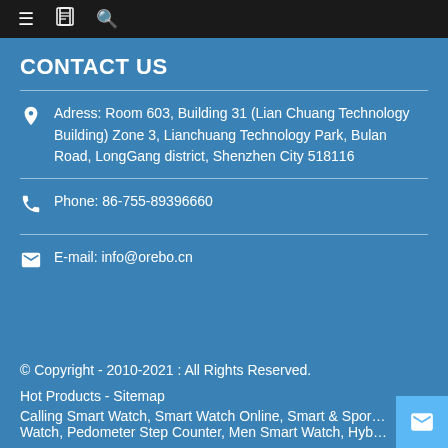☰  📖  🔍
CONTACT US
Adress: Room 603, Building 31 (Lian Chuang Technology Building) Zone 3, Lianchuang Technology Park, Bulan Road, LongGang district, Shenzhen City 518116
Phone: 86-755-89396660
E-mail: info@orebo.cn
© Copyright - 2010-2021 : All Rights Reserved.
Hot Products - Sitemap
Calling Smart Watch, Smart Watch Online, Smart & Sport Watch, Pedometer Step Counter, Men Smart Watch, Hyb...